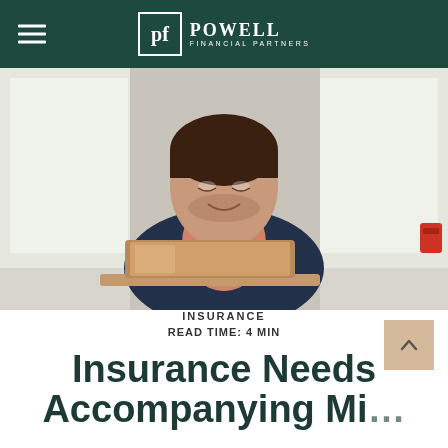POWELL FINANCIAL PARTNERS
[Figure (photo): Smiling man in navy blazer and salmon/pink shirt looking down at a laptop, bright window background, office setting]
INSURANCE
READ TIME: 4 MIN
Insurance Needs
Accompanying Mi…